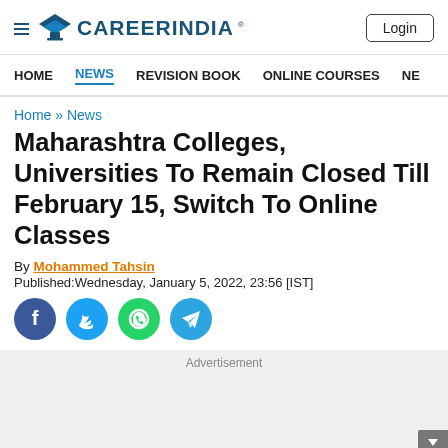CareerIndia — Login
HOME | NEWS | REVISION BOOK | ONLINE COURSES | NE
Home » News
Maharashtra Colleges, Universities To Remain Closed Till February 15, Switch To Online Classes
By Mohammed Tahsin
Published:Wednesday, January 5, 2022, 23:56 [IST]
[Figure (infographic): Social media share icons: Facebook, Twitter, WhatsApp, Telegram]
Advertisement